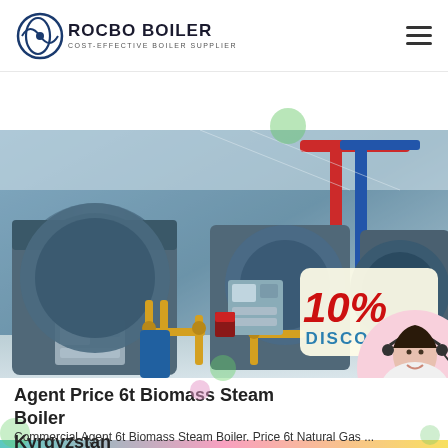ROCBO BOILER — COST-EFFECTIVE BOILER SUPPLIER
[Figure (photo): Industrial boiler room showing multiple large blue cylindrical steam boilers with yellow gas pipework, red pipes, and control panels. A 10% DISCOUNT badge is overlaid on the lower right of the image, and a customer service representative photo (woman with headset) is partially visible in the lower right corner.]
Agent Price 6t Biomass Steam Boiler Kyrgyzstan
Commercial Agent 6t Biomass Steam Boiler. Price 6t Natural Gas ...